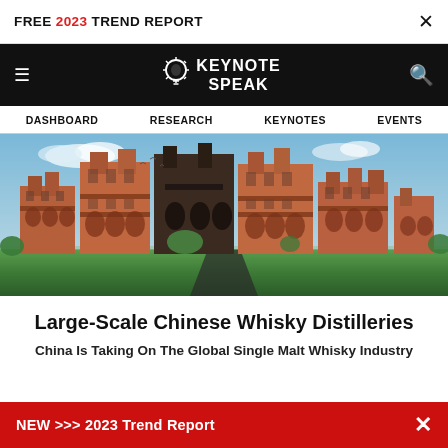FREE 2023 TREND REPORT  ×
☰  KEYNOTE SPEAK  🔍
DASHBOARD  RESEARCH  KEYNOTES  EVENTS
[Figure (photo): Architectural rendering of large-scale brick buildings with arched facades and green lawns, likely a whisky distillery complex in China]
Large-Scale Chinese Whisky Distilleries
China Is Taking On The Global Single Malt Whisky Industry
NEW >>> 2023 Trend Report  ×